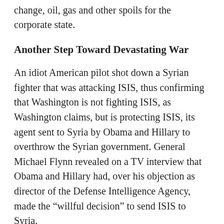change, oil, gas and other spoils for the corporate state.
Another Step Toward Devastating War
An idiot American pilot shot down a Syrian fighter that was attacking ISIS, thus confirming that Washington is not fighting ISIS, as Washington claims, but is protecting ISIS, its agent sent to Syria by Obama and Hillary to overthrow the Syrian government. General Michael Flynn revealed on a TV interview that Obama and Hillary had, over his objection as director of the Defense Intelligence Agency, made the “willful decision” to send ISIS to Syria.